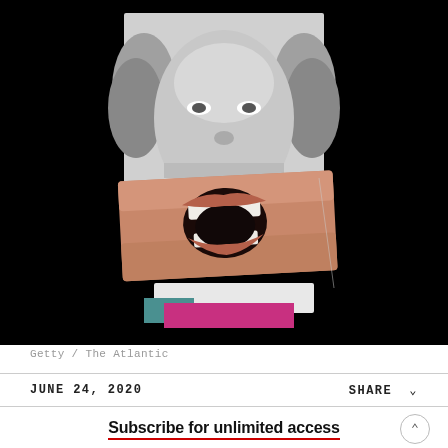[Figure (photo): Collage artwork: black-and-white vintage photo of a woman with curly hair overlaid with a color close-up of a wide-open mouth/jaw, creating a surreal composite image. Black background surrounds the collage.]
Getty / The Atlantic
JUNE 24, 2020
SHARE
Subscribe for unlimited access